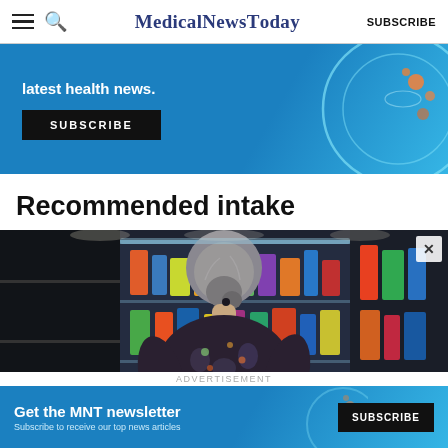MedicalNewsToday  SUBSCRIBE
[Figure (infographic): Advertisement banner with blue background showing text 'latest health news.' and a black SUBSCRIBE button, with a petri dish illustration on the right side]
Recommended intake
[Figure (photo): Elderly woman with gray hair in a bun, seen from behind, looking at refrigerated food shelves in a grocery store]
[Figure (infographic): Bottom advertisement banner: 'Get the MNT newsletter - Subscribe to receive our top news articles' with a SUBSCRIBE button, on blue background with petri dish illustration]